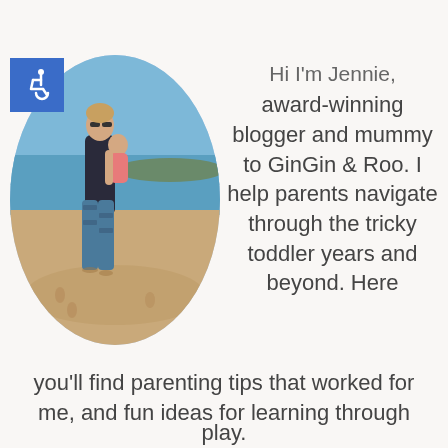[Figure (photo): Accessibility icon — white wheelchair symbol on blue background, positioned top-left corner]
[Figure (photo): Woman standing on a beach holding a young child, wearing sunglasses and blue/green patterned pants, oval-cropped photo]
Hi I'm Jennie, award-winning blogger and mummy to GinGin & Roo. I help parents navigate through the tricky toddler years and beyond. Here you'll find parenting tips that worked for me, and fun ideas for learning through play.